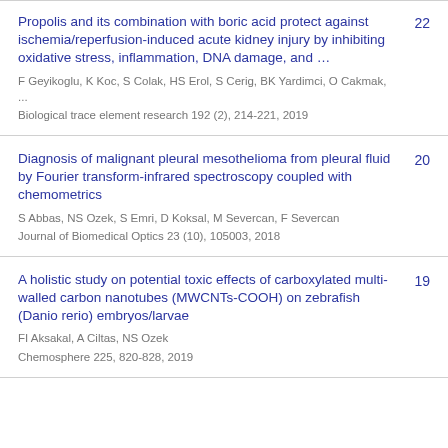Propolis and its combination with boric acid protect against ischemia/reperfusion-induced acute kidney injury by inhibiting oxidative stress, inflammation, DNA damage, and …
Diagnosis of malignant pleural mesothelioma from pleural fluid by Fourier transform-infrared spectroscopy coupled with chemometrics
A holistic study on potential toxic effects of carboxylated multi-walled carbon nanotubes (MWCNTs-COOH) on zebrafish (Danio rerio) embryos/larvae